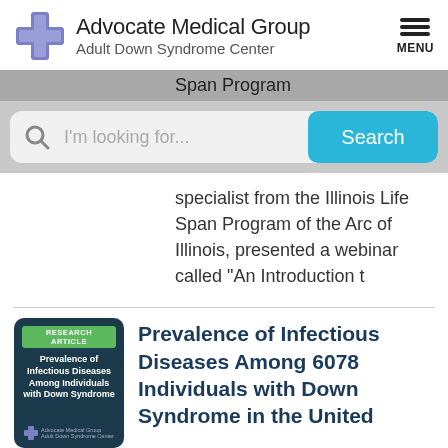[Figure (logo): Advocate Medical Group logo with blue cross and text 'Advocate Medical Group / Adult Down Syndrome Center' and hamburger menu icon labeled MENU]
Span Program
[Figure (screenshot): Search bar with magnifying glass icon, placeholder 'I'm looking for...' and blue Search button]
specialist from the Illinois Life Span Program of the Arc of Illinois, presented a webinar called "An Introduction t
[Figure (illustration): Research article thumbnail card with dark blue background, green RESEARCH ARTICLE label, title 'Prevalence of Infectious Diseases Among Individuals with Down Syndrome', Advocate Medical Group logo]
Prevalence of Infectious Diseases Among 6078 Individuals with Down Syndrome in the United Sta...